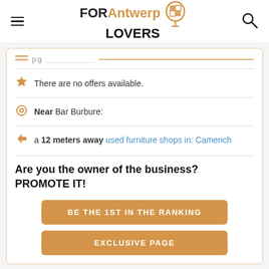FOR Antwerp LOVERS
There are no offers available.
Near Bar Burbure:
a 12 meters away used furniture shops in: Camerich
Are you the owner of the business? PROMOTE IT!
BE THE 1ST IN THE RANKING
EXCLUSIVE PAGE
12. The Northerner